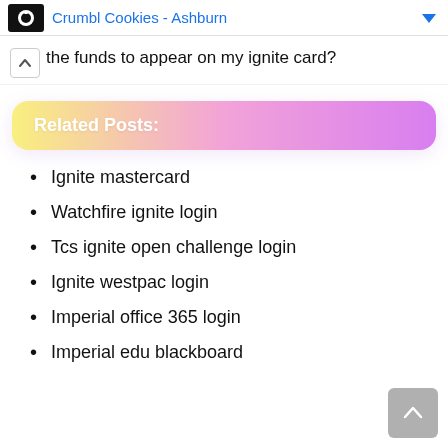[Figure (other): Ad banner showing Crumbl Cookies - Ashburn with logo and blue dropdown arrow]
the funds to appear on my ignite card?
Related Posts:
Ignite mastercard
Watchfire ignite login
Tcs ignite open challenge login
Ignite westpac login
Imperial office 365 login
Imperial edu blackboard